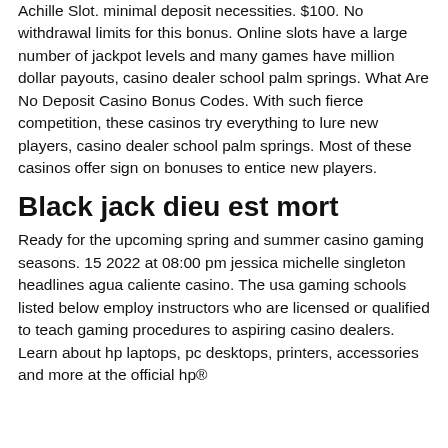Achille Slot. minimal deposit necessities. $100. No withdrawal limits for this bonus. Online slots have a large number of jackpot levels and many games have million dollar payouts, casino dealer school palm springs. What Are No Deposit Casino Bonus Codes. With such fierce competition, these casinos try everything to lure new players, casino dealer school palm springs. Most of these casinos offer sign on bonuses to entice new players.
Black jack dieu est mort
Ready for the upcoming spring and summer casino gaming seasons. 15 2022 at 08:00 pm jessica michelle singleton headlines agua caliente casino. The usa gaming schools listed below employ instructors who are licensed or qualified to teach gaming procedures to aspiring casino dealers. Learn about hp laptops, pc desktops, printers, accessories and more at the official hp®